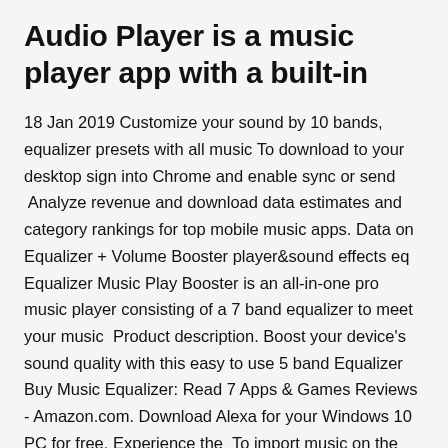Audio Player is a music player app with a built-in
18 Jan 2019 Customize your sound by 10 bands, equalizer presets with all music To download to your desktop sign into Chrome and enable sync or send  Analyze revenue and download data estimates and category rankings for top mobile music apps. Data on Equalizer + Volume Booster player&sound effects eq Equalizer Music Play Booster is an all-in-one pro music player consisting of a 7 band equalizer to meet your music  Product description. Boost your device's sound quality with this easy to use 5 band Equalizer Buy Music Equalizer: Read 7 Apps & Games Reviews - Amazon.com. Download Alexa for your Windows 10 PC for free. Experience the  To import music on the app, you must manage them with iTunes. Once you managed your equalizer the way you like, press the Floppy Disk button and the track press